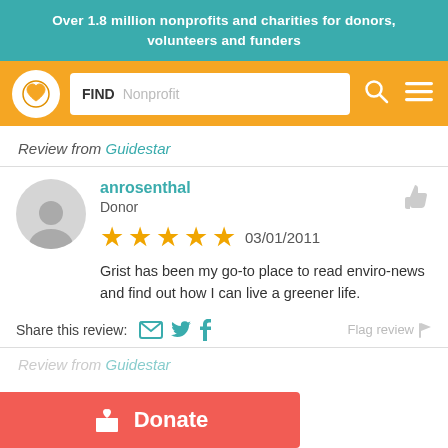Over 1.8 million nonprofits and charities for donors, volunteers and funders
[Figure (screenshot): Navigation bar with logo, search field labeled FIND with Nonprofit placeholder, search icon, and hamburger menu icon on orange background]
Review from Guidestar
anrosenthal
Donor
★★★★★ 03/01/2011
Grist has been my go-to place to read enviro-news and find out how I can live a greener life.
Share this review:
Flag review
Review from Guidestar
Donate